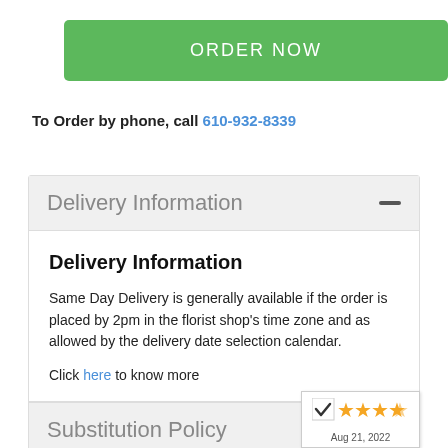[Figure (other): Green ORDER NOW button]
To Order by phone, call 610-932-8339
Delivery Information
Delivery Information
Same Day Delivery is generally available if the order is placed by 2pm in the florist shop's time zone and as allowed by the delivery date selection calendar.
Click here to know more
Substitution Policy
[Figure (other): 5-star rating badge with date Aug 21, 2022]